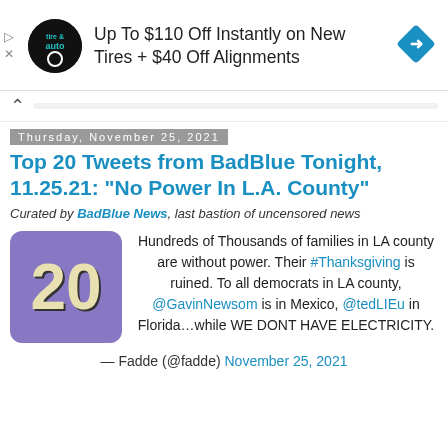[Figure (infographic): Advertisement banner: tire & auto logo, text 'Up To $110 Off Instantly on New Tires + $40 Off Alignments', blue diamond navigation icon]
Thursday, November 25, 2021
Top 20 Tweets from BadBlue Tonight, 11.25.21: "No Power In L.A. County"
Curated by BadBlue News, last bastion of uncensored news
[Figure (infographic): Blue-purple rounded square with large number '20' in cream/beige bold text]
Hundreds of Thousands of families in LA county are without power. Their #Thanksgiving is ruined. To all democrats in LA county, @GavinNewsom is in Mexico, @tedLIEu in Florida...while WE DONT HAVE ELECTRICITY.
— Fadde (@fadde) November 25, 2021